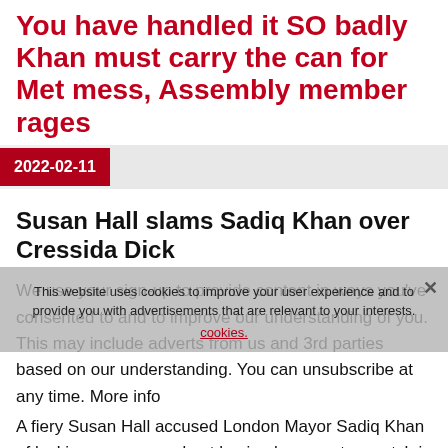You have handled it SO badly Khan must carry the can for Met mess, Assembly member rages
2022-02-11
Susan Hall slams Sadiq Khan over Cressida Dick
We use your sign-up to provide content in ways you've consented to and to improve our understanding of you. This may include adverts from us and 3rd parties based on our understanding. You can unsubscribe at any time. More info
A fiery Susan Hall accused London Mayor Sadiq Khan of lacking acumen and not having been up to scratch in his dealing of the Dame Cressida Dick row. The Chairman of the Police and Crime Committee – the
This website uses cookies to improve your user experience and to provide you with advertisements that are relevant to your interests. cookies.